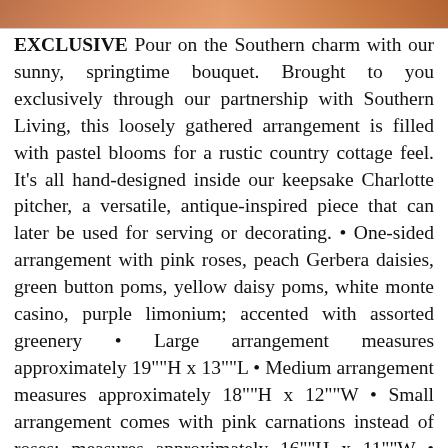[Figure (photo): Partial view of a floral arrangement photo at the top of the page, showing warm orange/brown tones cropped at the top edge.]
EXCLUSIVE Pour on the Southern charm with our sunny, springtime bouquet. Brought to you exclusively through our partnership with Southern Living, this loosely gathered arrangement is filled with pastel blooms for a rustic country cottage feel. It's all hand-designed inside our keepsake Charlotte pitcher, a versatile, antique-inspired piece that can later be used for serving or decorating. • One-sided arrangement with pink roses, peach Gerbera daisies, green button poms, yellow daisy poms, white monte casino, purple limonium; accented with assorted greenery • Large arrangement measures approximately 19""H x 13""L • Medium arrangement measures approximately 18""H x 12""W • Small arrangement comes with pink carnations instead of roses; measures approximately 16""H x 11""W • Artistically designed in our exclusive and versatile glazed white food-safe ceramic “Charlotte” pitcher, featuring fluted design at top and an embossed pattern; measures 8""H • Our florists hand-design each arrangement, so